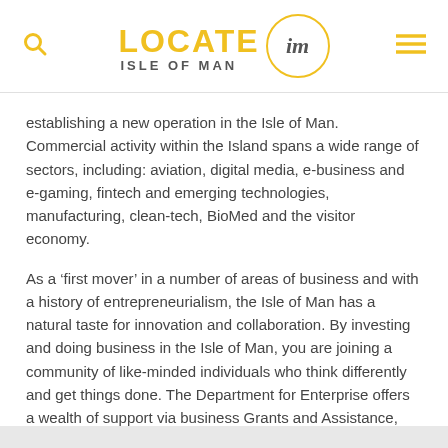LOCATE IM — ISLE OF MAN (logo/navigation header)
establishing a new operation in the Isle of Man. Commercial activity within the Island spans a wide range of sectors, including: aviation, digital media, e-business and e-gaming, fintech and emerging technologies, manufacturing, clean-tech, BioMed and the visitor economy.
As a ‘first mover’ in a number of areas of business and with a history of entrepreneurialism, the Isle of Man has a natural taste for innovation and collaboration. By investing and doing business in the Isle of Man, you are joining a community of like-minded individuals who think differently and get things done. The Department for Enterprise offers a wealth of support via business Grants and Assistance, and last year invested over £4.5m in local business.